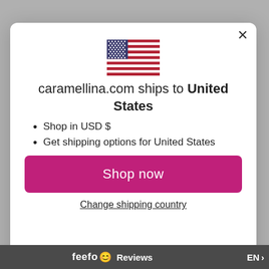[Figure (illustration): US Flag emoji/icon centered in modal]
caramellina.com ships to United States
Shop in USD $
Get shipping options for United States
Shop now
Change shipping country
feefo Reviews EN >